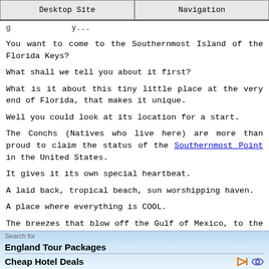Desktop Site | Navigation
g...y...
You want to come to the Southernmost Island of the Florida Keys?
What shall we tell you about it first?
What is it about this tiny little place at the very end of Florida, that makes it unique.
Well you could look at its location for a start.
The Conchs (Natives who live here) are more than proud to claim the status of the Southernmost Point in the United States.
It gives it its own special heartbeat.
A laid back, tropical beach, sun worshipping haven.
A place where everything is COOL.
The breezes that blow off the Gulf of Mexico, to the women that swarm around the beaches like bees around the proverbial honeypot, all have a swagger that is pure Key West.
Search for
England Tour Packages
Cheap Hotel Deals